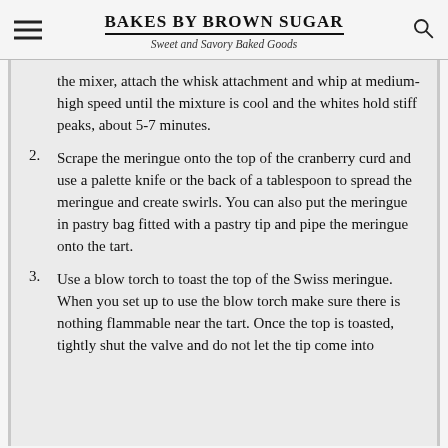BAKES BY BROWN SUGAR — Sweet and Savory Baked Goods
the mixer, attach the whisk attachment and whip at medium-high speed until the mixture is cool and the whites hold stiff peaks, about 5-7 minutes.
2. Scrape the meringue onto the top of the cranberry curd and use a palette knife or the back of a tablespoon to spread the meringue and create swirls. You can also put the meringue in pastry bag fitted with a pastry tip and pipe the meringue onto the tart.
3. Use a blow torch to toast the top of the Swiss meringue. When you set up to use the blow torch make sure there is nothing flammable near the tart. Once the top is toasted, tightly shut the valve and do not let the tip come into